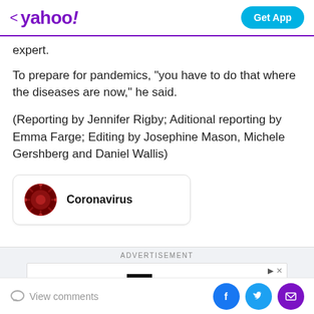< yahoo! | Get App
expert.
To prepare for pandemics, "you have to do that where the diseases are now," he said.
(Reporting by Jennifer Rigby; Aditional reporting by Emma Farge; Editing by Josephine Mason, Michele Gershberg and Daniel Wallis)
[Figure (other): Coronavirus topic card with red circular icon and bold label 'Coronavirus']
ADVERTISEMENT
[Figure (screenshot): Saks OFF 5TH advertisement banner with play and close controls]
View comments | Facebook | Twitter | Mail social share buttons